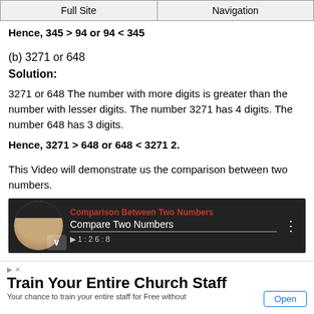Full Site | Navigation
Hence, 345 > 94 or 94 < 345
(b) 3271 or 648
Solution:
3271 or 648 The number with more digits is greater than the number with lesser digits. The number 3271 has 4 digits. The number 648 has 3 digits.
Hence, 3271 > 648 or 648 < 3271 2.
This Video will demonstrate us the comparison between two numbers.
[Figure (screenshot): Video thumbnail: Comparison Between Two Numbers — Compare Two Numbers, with a woman's avatar on the left and video title text on the right.]
Train Your Entire Church Staff — Your chance to train your entire staff for Free without